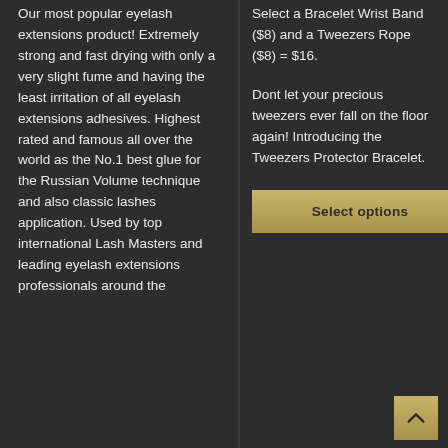Our most popular eyelash extensions product! Extremely strong and fast drying with only a very slight fume and having the least irritation of all eyelash extensions adhesives. Highest rated and famous all over the world as the No.1 best glue for the Russian Volume technique and also classic lashes application. Used by top international Lash Masters and leading eyelash extensions professionals around the
Select a Bracelet Wrist Band ($8) and a Tweezers Rope ($8) = $16.
Dont let your precious tweezers ever fall on the floor again! Introducing the Tweezers Protector Bracelet.
Select options